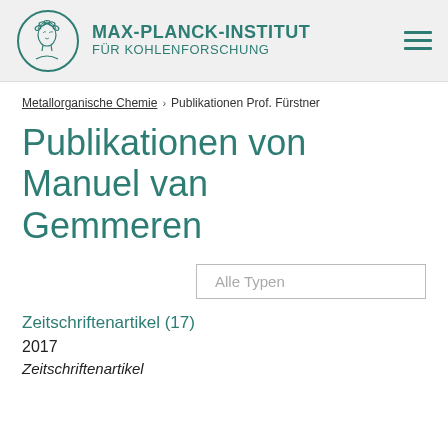MAX-PLANCK-INSTITUT FÜR KOHLENFORSCHUNG
Metallorganische Chemie › Publikationen Prof. Fürstner
Publikationen von Manuel van Gemmeren
Alle Typen
Zeitschriftenartikel (17)
2017
Zeitschriftenartikel